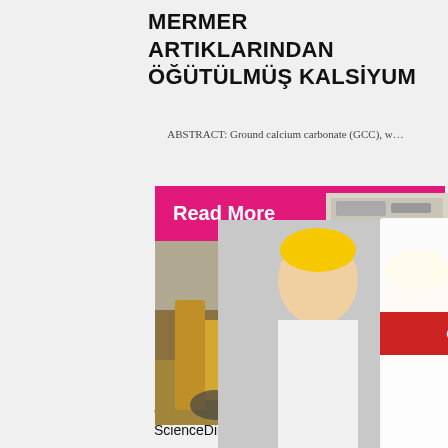MERMER ARTIKLARINDAN ÖĞÜTÜLMÜŞ KALSİYUM
ABSTRACT: Ground calcium carbonate (GCC), w…
[Figure (screenshot): Pink 'Read More' button overlay on construction site image with mining equipment]
[Figure (screenshot): Live chat popup overlay showing workers in yellow hard hats, LIVE CHAT heading in red italic, subtitle 'Click for a Free Consultation', with red 'Chat now' and dark 'Chat later' buttons]
[Figure (screenshot): Right orange sidebar with machinery images at top, 'Enjoy 3% discount' in yellow on orange background, 'Click to Chat' in yellow text, Enquiry link, and limingjlmofen@sina.com email]
Calcium Carbonate - an overview ScienceDirect Topics